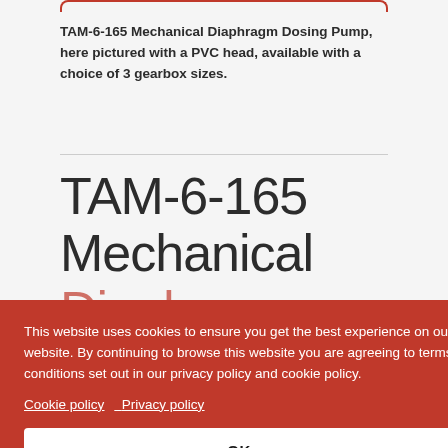TAM-6-165 Mechanical Diaphragm Dosing Pump, here pictured with a PVC head, available with a choice of 3 gearbox sizes.
TAM-6-165 Mechanical Diaphragm Dosing
This website uses cookies to ensure you get the best experience on our website. By continuing to browse this website you are agreeing to terms & conditions set out in our privacy policy and cookie policy. Cookie policy  Privacy policy
OK
As a process device, the TAM-6-165 is designed to